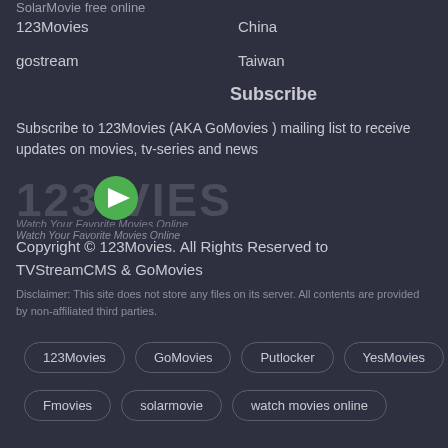SolarMovie free online
123Movies
China
gostream
Taiwan
Subscribe
Subscribe to 123Movies (AKA GoMovies ) mailing list to receive updates on movies, tv-series and news
[Figure (logo): 123Movies logo with green play button icon and text '123MOVIES', tagline 'Watch Your Favorite Movies Online']
Copyright © 123Movies. All Rights Reserved to TVStreamCMS & GoMovies
Disclaimer: This site does not store any files on its server. All contents are provided by non-affiliated third parties.
123Movies
GoMovies
Putlocker
YesMovies
Fmovies
solarmovie
watch movies online